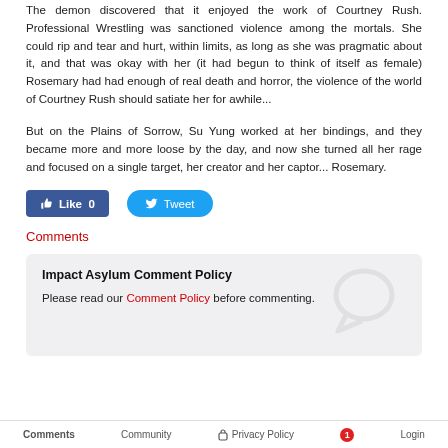The demon discovered that it enjoyed the work of Courtney Rush. Professional Wrestling was sanctioned violence among the mortals. She could rip and tear and hurt, within limits, as long as she was pragmatic about it, and that was okay with her (it had begun to think of itself as female) Rosemary had had enough of real death and horror, the violence of the world of Courtney Rush should satiate her for awhile...
But on the Plains of Sorrow, Su Yung worked at her bindings, and they became more and more loose by the day, and now she turned all her rage and focused on a single target, her creator and her captor... Rosemary.
[Figure (other): Facebook Like button showing Like 0 and Twitter Tweet button]
Comments
Impact Asylum Comment Policy
Please read our Comment Policy before commenting.
Comments  Community  Privacy Policy  1  Login